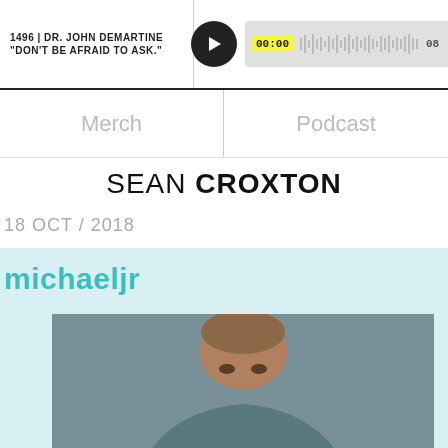1496 | DR. JOHN DEMARTINE
"DON'T BE AFRAID TO ASK."
00:00  08:12
Merch
Podcast
SEAN CROXTON
18 OCT / 2018
michaeljr
[Figure (photo): Portrait photo of a bald Black man looking at the camera, against a gray background]